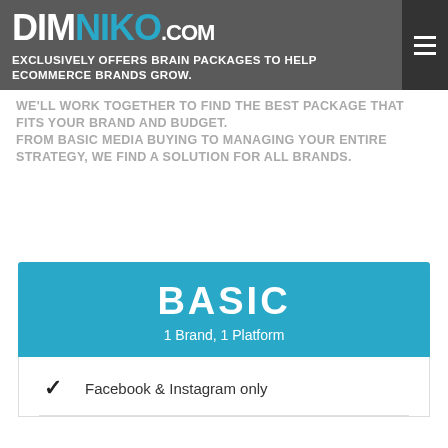DIMNIKO.COM — EXCLUSIVELY OFFERS BRAIN PACKAGES TO HELP ECOMMERCE BRANDS GROW.
WE'LL WORK TOGETHER TO FIND THE BEST PACKAGE THAT FITS YOUR BRAND AND BUDGET. FROM BASIC MEDIA BUYING TO MANAGING YOUR ENTIRE STRATEGY, WE FIND A SOLUTION FOR ALL BRANDS.
BASIC — 1 Brand, 1 Platform
Facebook & Instagram only